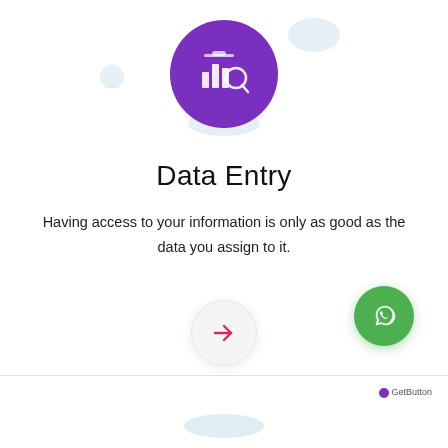[Figure (illustration): Purple circle icon with data/analytics graphic (chart and magnifying glass icons in white on purple background), surrounded by light blue decorative blob shapes]
Data Entry
Having access to your information is only as good as the data you assign to it.
[Figure (other): Light gray circle button with a pink/red right-arrow inside, serving as a navigation button]
[Figure (other): Green circular WhatsApp button with white phone/chat icon, and GetButton label below it]